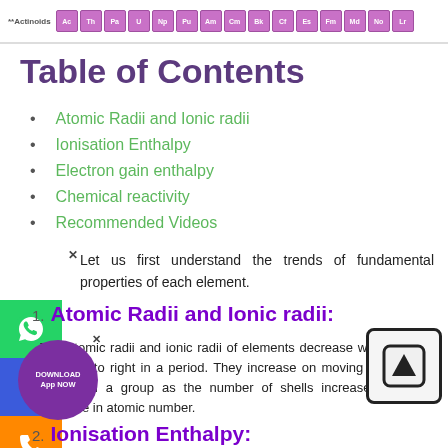[Figure (illustration): Partial periodic table strip showing **Actinoids row with element boxes (Ac, Th, Pa, U, Np, Pu, Am, Cm, Bk, Cf, Es, Fm, Md, No, Lr) in purple/pink color]
Table of Contents
Atomic Radii and Ionic radii
Ionisation Enthalpy
Electron gain enthalpy
Chemical reactivity
Recommended Videos
Let us first understand the trends of fundamental properties of each element.
1. Atomic Radii and Ionic radii:
The atomic radii and ionic radii of elements decrease while moving from left to right in a period. They increase on moving from top to bottom in a group as the number of shells increases with the increase in atomic number.
2. Ionisation Enthalpy: